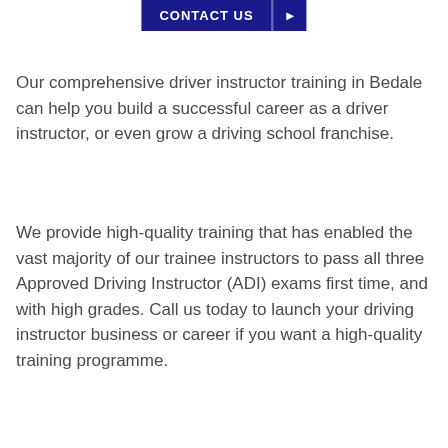[Figure (other): Dark navy blue CONTACT US button with a right-arrow chevron button beside it]
Our comprehensive driver instructor training in Bedale can help you build a successful career as a driver instructor, or even grow a driving school franchise.
We provide high-quality training that has enabled the vast majority of our trainee instructors to pass all three Approved Driving Instructor (ADI) exams first time, and with high grades. Call us today to launch your driving instructor business or career if you want a high-quality training programme.